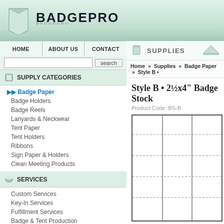BADGEPRO
HOME  ABOUT US  CONTACT
SUPPLY CATEGORIES
Badge Paper
Badge Holders
Badge Reels
Lanyards & Neckwear
Tent Paper
Tent Holders
Ribbons
Sign Paper & Holders
Clean Meeting Products
SERVICES
Custom Services
Key-In Services
Fulfillment Services
Badge & Tent Production
SOFTWARE CATALOG
BadgePRO Plus
BadgePro Lite
Omar the TentMaker
SUPPLIES
Home » Supplies » Badge Paper » Style B •
Style B • 2½x4" Badge Stock
Product Code: BS-B
[Figure (illustration): Badge stock sheet showing a grid of badge cutouts with dashed cut lines, arranged in 3 columns and 5 rows]
P...
Q...